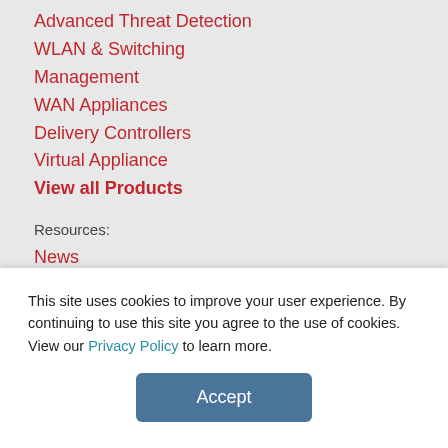Advanced Threat Detection
WLAN & Switching
Management
WAN Appliances
Delivery Controllers
Virtual Appliance
View all Products
Resources:
News
Resources
Shipping
Returns
This site uses cookies to improve your user experience. By continuing to use this site you agree to the use of cookies. View our Privacy Policy to learn more.
Accept